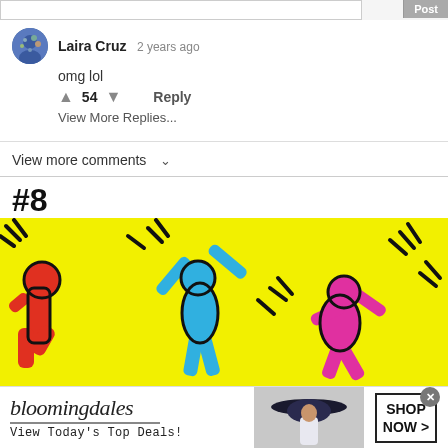Laira Cruz  2 years ago
omg lol
▲ 54 ▼  Reply
View More Replies...
View more comments ∨
#8
[Figure (illustration): Colorful Keith Haring-style dancing figures on a bright yellow background — red, blue, and pink cartoon figures with motion lines]
[Figure (screenshot): Bloomingdales advertisement banner: 'bloomingdales / View Today's Top Deals!' with a woman in a large black hat and 'SHOP NOW >' button]